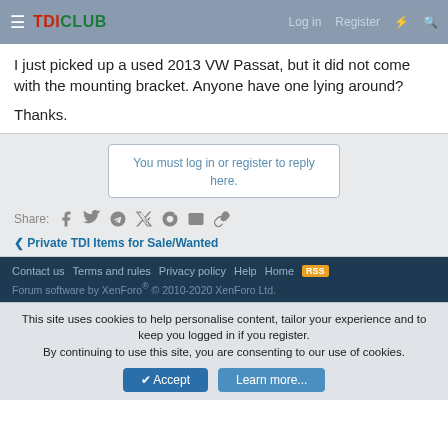TDICLUB  Log in  Register
I just picked up a used 2013 VW Passat, but it did not come with the mounting bracket. Anyone have one lying around?

Thanks.
You must log in or register to reply here.
Share:
< Private TDI Items for Sale/Wanted
Contact us  Terms and rules  Privacy policy  Help  Home  [RSS]
Forum software by XenForo® © 2010-2020 XenForo Ltd.
This site uses cookies to help personalise content, tailor your experience and to keep you logged in if you register.
By continuing to use this site, you are consenting to our use of cookies.